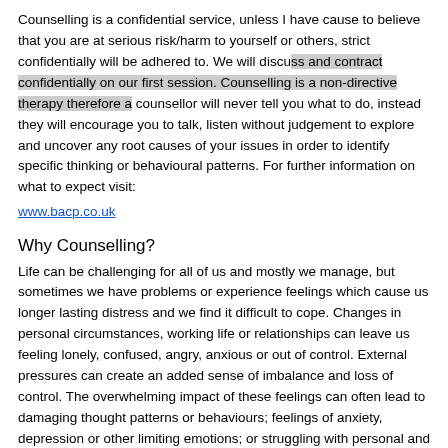Counselling is a confidential service, unless I have cause to believe that you are at serious risk/harm to yourself or others, strict confidentially will be adhered to. We will discuss and contract confidentially on our first session. Counselling is a non-directive therapy therefore a counsellor will never tell you what to do, instead they will encourage you to talk, listen without judgement to explore and uncover any root causes of your issues in order to identify specific thinking or behavioural patterns. For further information on what to expect visit:
www.bacp.co.uk
Why Counselling?
Life can be challenging for all of us and mostly we manage, but sometimes we have problems or experience feelings which cause us longer lasting distress and we find it difficult to cope. Changes in personal circumstances, working life or relationships can leave us feeling lonely, confused, angry, anxious or out of control. External pressures can create an added sense of imbalance and loss of control. The overwhelming impact of these feelings can often lead to damaging thought patterns or behaviours; feelings of anxiety, depression or other limiting emotions; or struggling with personal and professional relationships. Counselling is a proven way to help you understand, process and manage these feelings and their impact.
Sometimes we need a safe place to express our innermost feelings and to openly meet the reality of our lives and relationships. It may simply be that you need some time to yourself, to process thoughts and feelings in a place where you can begin a new chapter of their lives.